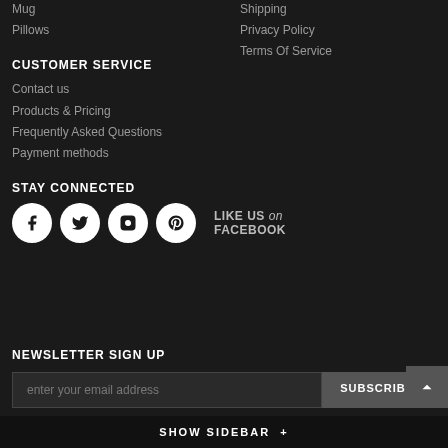Mug
Pillows
Shipping
Privacy Policy
Terms Of Service
CUSTOMER SERVICE
Contact us
Products & Pricing
Frequently Asked Questions
Payment methods
STAY CONNECTED
[Figure (infographic): Social media icons: Facebook, Twitter, Instagram, Pinterest circles with LIKE US on FACEBOOK text]
NEWSLETTER SIGN UP
enter your email address
SUBSCRIBE
SHOW SIDEBAR +